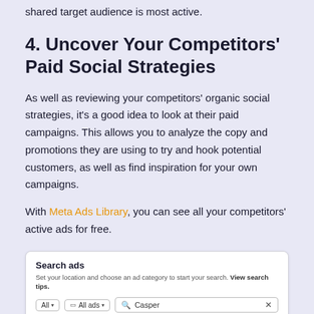shared target audience is most active.
4. Uncover Your Competitors' Paid Social Strategies
As well as reviewing your competitors' organic social strategies, it's a good idea to look at their paid campaigns. This allows you to analyze the copy and promotions they are using to try and hook potential customers, as well as find inspiration for your own campaigns.
With Meta Ads Library, you can see all your competitors' active ads for free.
[Figure (screenshot): Screenshot of Meta Ads Library interface showing a 'Search ads' panel with a search bar containing 'Casper', dropdown filters for 'All' and 'All ads', a dropdown suggestion showing '"Casper"' with 'Search this exact phrase', and a 'Frequently asked que...' section at the bottom.]